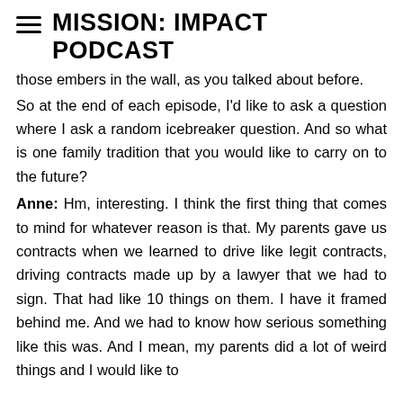MISSION: IMPACT PODCAST
those embers in the wall, as you talked about before.
So at the end of each episode, I'd like to ask a question where I ask a random icebreaker question. And so what is one family tradition that you would like to carry on to the future?
Anne: Hm, interesting. I think the first thing that comes to mind for whatever reason is that. My parents gave us contracts when we learned to drive like legit contracts, driving contracts made up by a lawyer that we had to sign. That had like 10 things on them. I have it framed behind me. And we had to know how serious something like this was. And I mean, my parents did a lot of weird things and I would like to
parents did a lot of weird things and I would like to